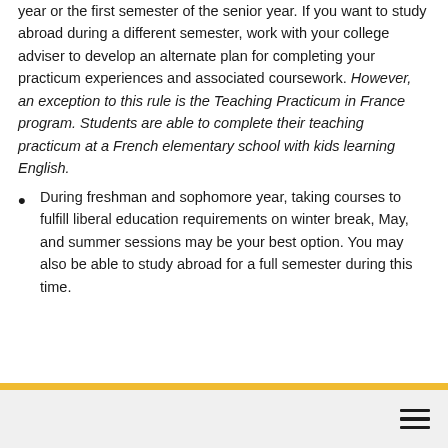year or the first semester of the senior year. If you want to study abroad during a different semester, work with your college adviser to develop an alternate plan for completing your practicum experiences and associated coursework. However, an exception to this rule is the Teaching Practicum in France program. Students are able to complete their teaching practicum at a French elementary school with kids learning English.
During freshman and sophomore year, taking courses to fulfill liberal education requirements on winter break, May, and summer sessions may be your best option. You may also be able to study abroad for a full semester during this time.